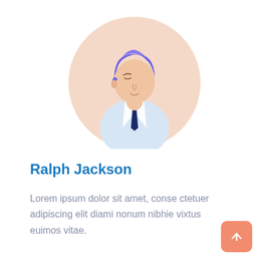[Figure (illustration): Circular avatar illustration with a peach/beige background circle. A stylized person with blue/purple hair, light skin, wearing a light blue shirt and dark navy tie, facing slightly left.]
Ralph Jackson
Lorem ipsum dolor sit amet, conse ctetuer adipiscing elit diami nonum nibhie vixtus euimos vitae.